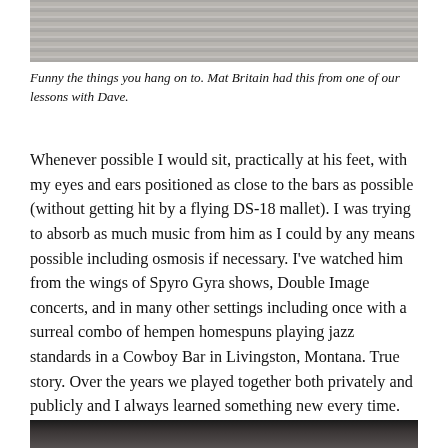[Figure (photo): Black and white photo partially visible at top of page, appears to show sheet music or a musical instrument]
Funny the things you hang on to. Mat Britain had this from one of our lessons with Dave.
Whenever possible I would sit, practically at his feet, with my eyes and ears positioned as close to the bars as possible (without getting hit by a flying DS-18 mallet). I was trying to absorb as much music from him as I could by any means possible including osmosis if necessary. I've watched him from the wings of Spyro Gyra shows, Double Image concerts, and in many other settings including once with a surreal combo of hempen homespuns playing jazz standards in a Cowboy Bar in Livingston, Montana. True story. Over the years we played together both privately and publicly and I always learned something new every time.
[Figure (photo): Black and white photo partially visible at bottom of page, appears to show people]